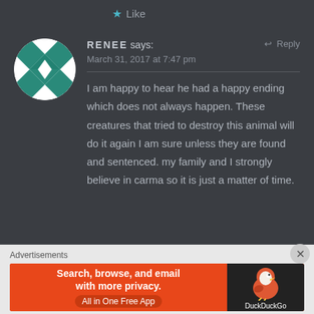★ Like
RENEE says:   ↩ Reply
March 31, 2017 at 7:47 pm
I am happy to hear he had a happy ending which does not always happen. These creatures that tried to destroy this animal will do it again I am sure unless they are found and sentenced. my family and I strongly believe in carma so it is just a matter of time.
Advertisements
[Figure (screenshot): DuckDuckGo advertisement banner: orange background with text 'Search, browse, and email with more privacy. All in One Free App' on the left and DuckDuckGo logo on the right dark background.]